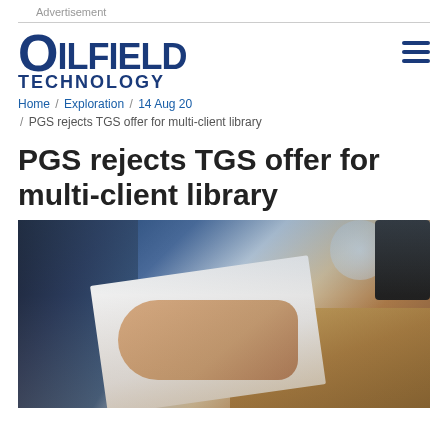Advertisement
OILFIELD TECHNOLOGY
Home / Exploration / 14 Aug 20 / PGS rejects TGS offer for multi-client library
PGS rejects TGS offer for multi-client library
[Figure (photo): Business person in dark jacket writing on paper at a meeting table, with a glass and phone visible in background]